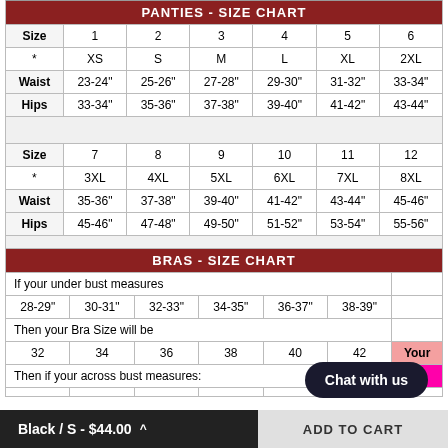| Size | 1 | 2 | 3 | 4 | 5 | 6 |
| --- | --- | --- | --- | --- | --- | --- |
| * | XS | S | M | L | XL | 2XL |
| Waist | 23-24" | 25-26" | 27-28" | 29-30" | 31-32" | 33-34" |
| Hips | 33-34" | 35-36" | 37-38" | 39-40" | 41-42" | 43-44" |
| Size | 7 | 8 | 9 | 10 | 11 | 12 |
| * | 3XL | 4XL | 5XL | 6XL | 7XL | 8XL |
| Waist | 35-36" | 37-38" | 39-40" | 41-42" | 43-44" | 45-46" |
| Hips | 45-46" | 47-48" | 49-50" | 51-52" | 53-54" | 55-56" |
| BRAS - SIZE CHART |
| --- |
| If your under bust measures |  |  |  |  |  |  |
| 28-29" | 30-31" | 32-33" | 34-35" | 36-37" | 38-39" |  |
| Then your Bra Size will be |  |  |  |  |  |  |
| 32 | 34 | 36 | 38 | 40 | 42 | Your |
| Then if your across bust measures: |  |  |  |  |  |  |
Black / S - $44.00
ADD TO CART
Chat with us